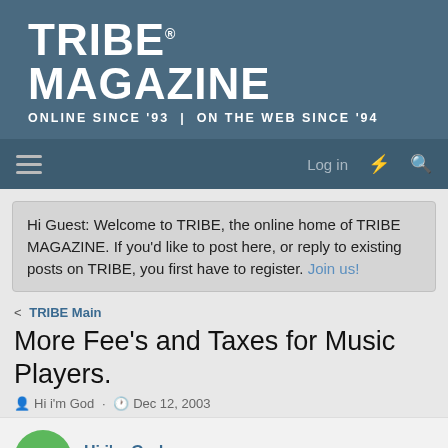TRIBE® MAGAZINE
ONLINE SINCE '93 | ON THE WEB SINCE '94
Hi Guest: Welcome to TRIBE, the online home of TRIBE MAGAZINE. If you'd like to post here, or reply to existing posts on TRIBE, you first have to register. Join us!
TRIBE Main
More Fee's and Taxes for Music Players.
Hi i'm God · Dec 12, 2003
Hi i'm God
TRIBE Member
Dec 12, 2003
#1